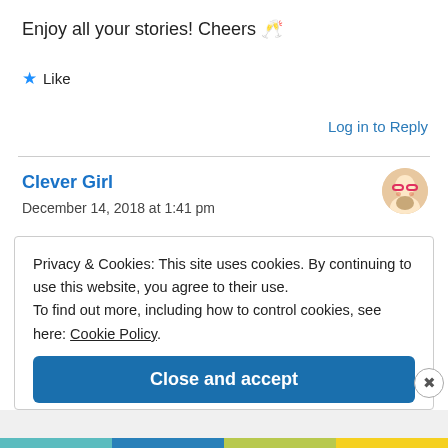Enjoy all your stories! Cheers 🥂
★ Like
Log in to Reply
Clever Girl
December 14, 2018 at 1:41 pm
Privacy & Cookies: This site uses cookies. By continuing to use this website, you agree to their use.
To find out more, including how to control cookies, see here: Cookie Policy
Close and accept